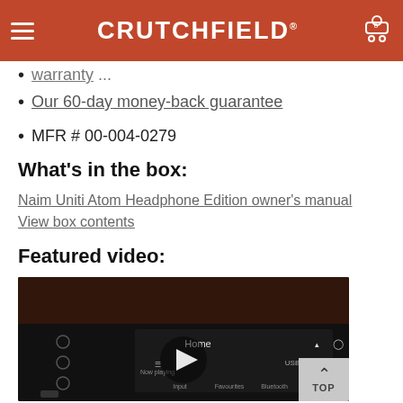CRUTCHFIELD
warranty
Our 60-day money-back guarantee
MFR # 00-004-0279
What's in the box:
Naim Uniti Atom Headphone Edition owner's manual
View box contents
Featured video:
[Figure (screenshot): Video thumbnail showing the front panel of a Naim Uniti Atom Headphone Edition with a play button overlay. The device display shows Home screen with icons for Now playing, USB, Input, Favourites, Bluetooth, and Settings.]